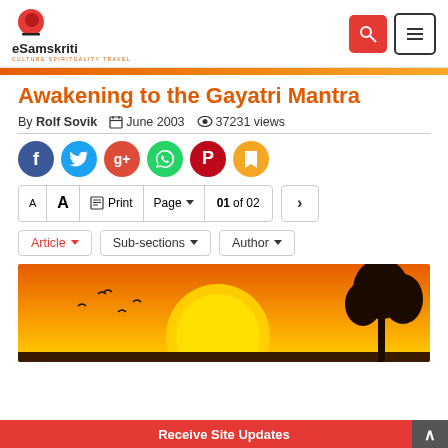eSamskriti – CULTURE SPIRITUALITY TRAVEL
Awakening to the Gayatri Mantra
By Rolf Sovik   June 2003   37231 views
[Figure (infographic): Social sharing icons row: Facebook, Twitter, Google+, WhatsApp, Pinterest, Bookmark]
A  A   Print   Page ▼   01 of 02   >
Article ▼   Sub-sections ▼   Author ▼
[Figure (photo): Sunset image with large orange/yellow sun, silhouettes of flying birds and a tree on the right side]
Receive Site Updates